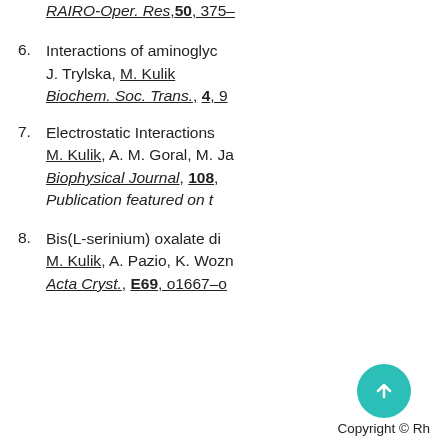5. M. Kulik, J. Trylska, RAIRO-Oper. Res, 50, 375-...
6. Interactions of aminoglyc... J. Trylska, M. Kulik Biochem. Soc. Trans., 4, 9...
7. Electrostatic Interactions... M. Kulik, A. M. Goral, M. Ja... Biophysical Journal, 108,... Publication featured on t...
8. Bis(L-serinium) oxalate di... M. Kulik, A. Pazio, K. Wozn... Acta Cryst., E69, o1667-o...
Copyright © Rh...